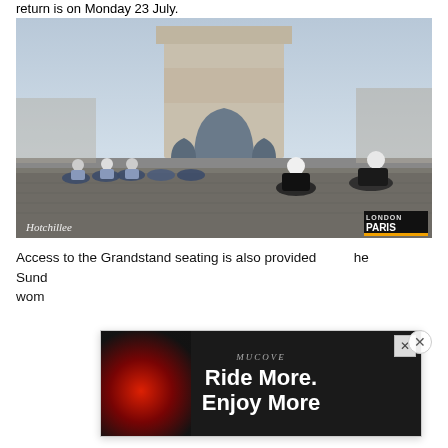return is on Monday 23 July.
[Figure (photo): Cyclists riding past the Arc de Triomphe in Paris. Group of cyclists in blue and black kit. Bottom-left watermark: 'Hotchillee'. Bottom-right logo: 'LONDON PARIS'.]
Access to the Grandstand seating is also provided he Sund wom
[Figure (photo): Advertisement overlay showing bicycle tail lights against a dark background with text 'Ride More. Enjoy More' and a Mucove logo. Has an X close button.]